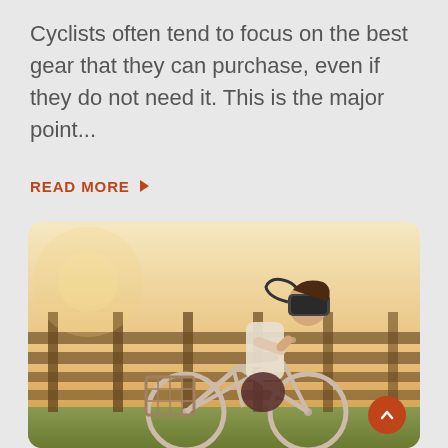Cyclists often tend to focus on the best gear that they can purchase, even if they do not need it. This is the major point...
READ MORE ▶
[Figure (photo): A woman wearing a VR headset riding a bicycle with a basket in front of a wooden fence in warm golden sunlight]